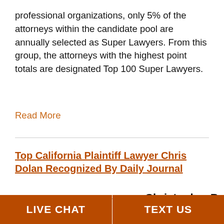professional organizations, only 5% of the attorneys within the candidate pool are annually selected as Super Lawyers. From this group, the attorneys with the highest point totals are designated Top 100 Super Lawyers.
Read More
Top California Plaintiff Lawyer Chris Dolan Recognized By Daily Journal
We are pleased to announce that
Christopher B. Dolan
[Figure (photo): Photo of law books on a shelf with brown/reddish tones]
LIVE CHAT | TEXT US